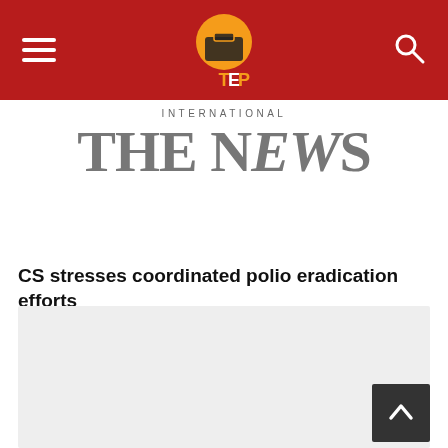TEP - The News International
[Figure (logo): The News International logo with 'INTERNATIONAL' above and 'THE NEWS' in large serif font below]
CS stresses coordinated polio eradication efforts
[Figure (photo): Article image placeholder (light gray box)]